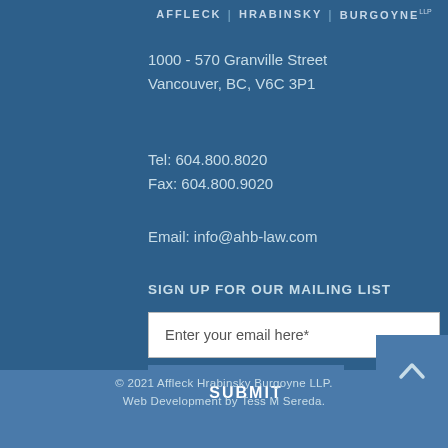AFFLECK | HRABINSKY | BURGOYNE LLP
1000 - 570 Granville Street
Vancouver, BC, V6C 3P1
Tel: 604.800.8020
Fax: 604.800.9020
Email: info@ahb-law.com
SIGN UP FOR OUR MAILING LIST
Enter your email here*
SUBMIT
© 2021 Affleck Hrabinsky Burgoyne LLP.
Web Development by Tess M Sereda.